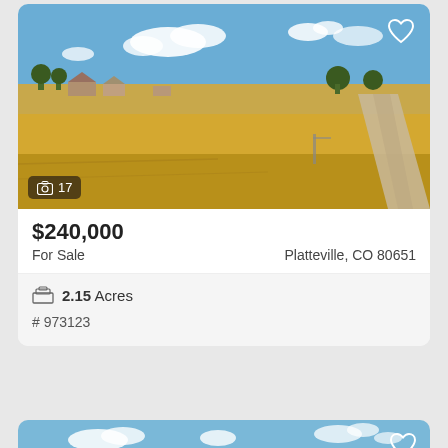[Figure (photo): Aerial view of a prairie land lot with scattered houses, golden grassland, blue sky with white clouds, and a winding dirt road to the right.]
$240,000
For Sale   Platteville, CO 80651
2.15 Acres
# 973123
[Figure (photo): Aerial view of flat farmland with green and brown fields under a blue sky with scattered clouds.]